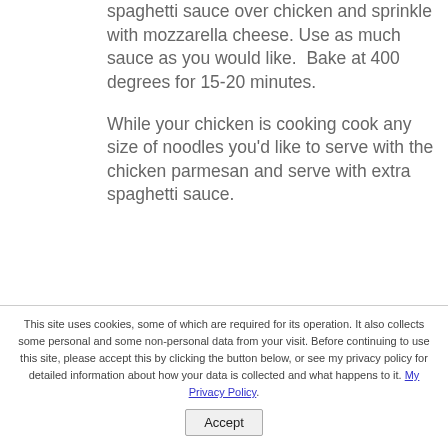spaghetti sauce over chicken and sprinkle with mozzarella cheese. Use as much sauce as you would like.  Bake at 400 degrees for 15-20 minutes.
While your chicken is cooking cook any size of noodles you'd like to serve with the chicken parmesan and serve with extra spaghetti sauce.
This site uses cookies, some of which are required for its operation. It also collects some personal and some non-personal data from your visit. Before continuing to use this site, please accept this by clicking the button below, or see my privacy policy for detailed information about how your data is collected and what happens to it. My Privacy Policy. Accept